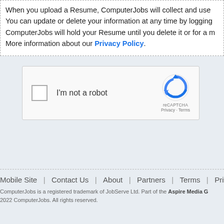When you upload a Resume, ComputerJobs will collect and use your information. You can update or delete your information at any time by logging in. ComputerJobs will hold your Resume until you delete it or for a maximum period. More information about our Privacy Policy.
[Figure (other): reCAPTCHA widget with checkbox labeled 'I'm not a robot' and the reCAPTCHA logo with Privacy and Terms links]
Mobile Site | Contact Us | About | Partners | Terms | Privacy
ComputerJobs is a registered trademark of JobServe Ltd. Part of the Aspire Media G... 2022 ComputerJobs. All rights reserved.